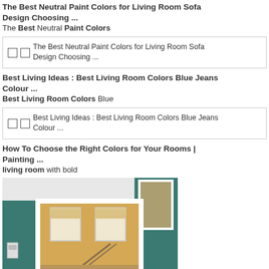The Best Neutral Paint Colors for Living Room Sofa Design Choosing ...
The Best Neutral Paint Colors
[Figure (screenshot): Image placeholder box showing 'The Best Neutral Paint Colors for Living Room Sofa Design Choosing ...']
Best Living Ideas : Best Living Room Colors Blue Jeans Colour ...
Best Living Room Colors Blue
[Figure (screenshot): Image placeholder box showing 'Best Living Ideas : Best Living Room Colors Blue Jeans Colour ...']
How To Choose the Right Colors for Your Rooms | Painting ...
living room with bold
[Figure (photo): Photo of a living room with teal/dark green painted walls and warm yellow/cream interior visible through a doorway, with white trim and window treatments]